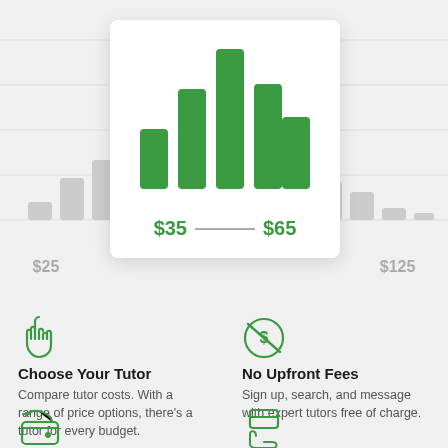[Figure (bar-chart): Bar chart showing tutor price distribution with highlighted range $35–$65 in green on a white card, surrounded by grey bars on a grey background]
Choose Your Tutor
Compare tutor costs. With a range of price options, there's a tutor for every budget.
No Upfront Fees
Sign up, search, and message with expert tutors free of charge.